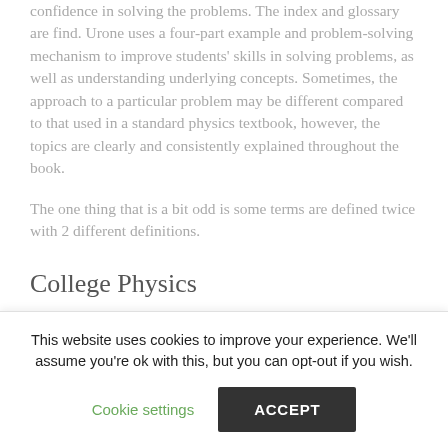confidence in solving the problems. The index and glossary are find. Urone uses a four-part example and problem-solving mechanism to improve students' skills in solving problems, as well as understanding underlying concepts. Sometimes, the approach to a particular problem may be different compared to that used in a standard physics textbook, however, the topics are clearly and consistently explained throughout the book.
The one thing that is a bit odd is some terms are defined twice with 2 different definitions.
College Physics
This website uses cookies to improve your experience. We'll assume you're ok with this, but you can opt-out if you wish.